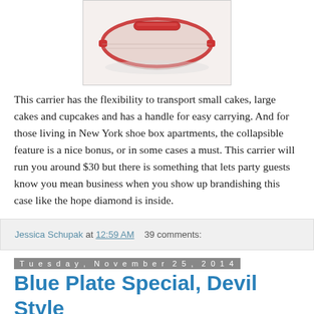[Figure (photo): A red collapsible cake carrier with a handle, viewed from above, on a white background.]
This carrier has the flexibility to transport small cakes, large cakes and cupcakes and has a handle for easy carrying. And for those living in New York shoe box apartments, the collapsible feature is a nice bonus, or in some cases a must. This carrier will run you around $30 but there is something that lets party guests know you mean business when you show up brandishing this case like the hope diamond is inside.
Jessica Schupak at 12:59 AM    39 comments:
Tuesday, November 25, 2014
Blue Plate Special, Devil Style
Look what just hit the (virtual) press! A new issue of the Polycam featuring Chinese food impresario Ed Schoenfeld of Red Farm (who knew we were fellow Blue Devils!), the